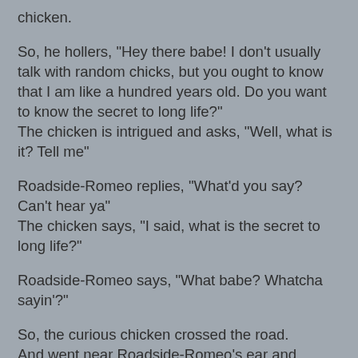chicken.
So, he hollers, "Hey there babe! I don't usually talk with random chicks, but you ought to know that I am like a hundred years old. Do you want to know the secret to long life?"
The chicken is intrigued and asks, "Well, what is it? Tell me"
Roadside-Romeo replies, "What'd you say? Can't hear ya"
The chicken says, "I said, what is the secret to long life?"
Roadside-Romeo says, "What babe? Whatcha sayin'?"
So, the curious chicken crossed the road.
And went near Roadside-Romeo's ear and yelled, "What is the secret to long life?"
Roadside-Romeo hissed and rattled and replied, "Oh!!! The secret is - Don't talk to strangers!"
And in one quick swoop, pounced and ate the chicken.
And smugly, he thought to hisself, "Wow! Amazing that joke